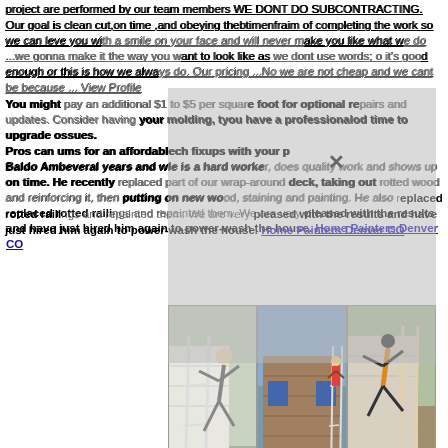project are performed by our team members WE DONT DO SUBCONTRACTING. Our goal is clean cut,on time ,and obeying thebtimenfraim of completing the work so we can leve you with a smile on your face and will never make you like what we do ...we gonna make it the way you want to look like as we dont use words; o it's good enough or this is how we always do. Our pricing ...No we are not cheap and we cant be because ... View Profile
You might pay an additional $1 to $5 per square foot for optional repairs and updates. Consider having your molding, t... you have a professional... od time to upgrade o... ssues. Pros can u... ms for an affordable... ch fixups with your p...
[Figure (photo): Three photos side by side showing people doing exterior work on houses, including ladder scenes and workers on siding]
Baldo Amb... several years and w... le is a hard worker, does quality work and shows up on time. He recently replaced part of our wrap-around deck, taking out rotted wood and reinforcing it, then putting on new wood, staining and painting. He also replaced rotted railings and repainted them. We are very pleased with the results and have just hired him again to power-wash the house. Home Painters Denver CO